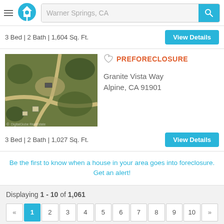[Figure (screenshot): App header with hamburger menu, home logo in blue circle, search bar showing 'Warner Springs, CA', and cyan search button]
3 Bed | 2 Bath | 1,604 Sq. Ft.
[Figure (photo): Aerial satellite photo of a rural property with dirt roads and sparse trees]
PREFORECLOSURE
Granite Vista Way Alpine, CA 91901
3 Bed | 2 Bath | 1,027 Sq. Ft.
Be the first to know when a house in your area goes into foreclosure. Get an alert!
Displaying 1 - 10 of 1,061
« 1 2 3 4 5 6 7 8 9 10 »